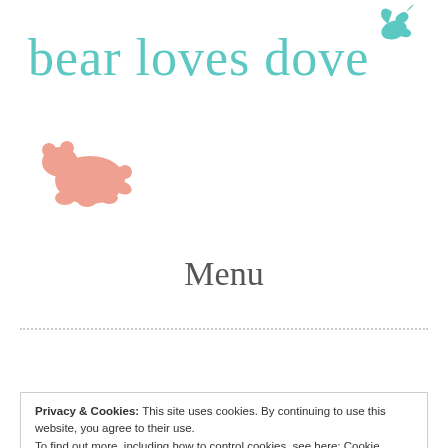[Figure (logo): Bear Loves Dove blog logo with teal text 'bear loves dove', a teal dove icon top right, and a salmon/pink bear icon bottom left]
Menu
Privacy & Cookies: This site uses cookies. By continuing to use this website, you agree to their use.
To find out more, including how to control cookies, see here: Cookie Policy
Posted on April 26, 2015 by bear loves dove